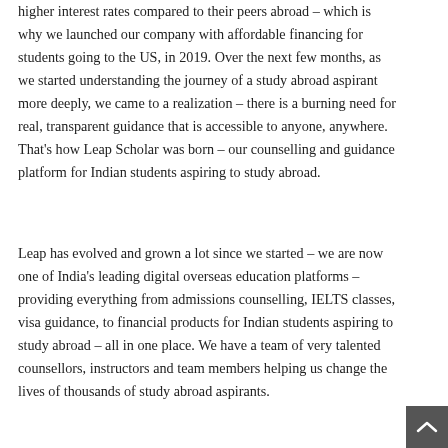higher interest rates compared to their peers abroad – which is why we launched our company with affordable financing for students going to the US, in 2019. Over the next few months, as we started understanding the journey of a study abroad aspirant more deeply, we came to a realization – there is a burning need for real, transparent guidance that is accessible to anyone, anywhere. That's how Leap Scholar was born – our counselling and guidance platform for Indian students aspiring to study abroad.
Leap has evolved and grown a lot since we started – we are now one of India's leading digital overseas education platforms – providing everything from admissions counselling, IELTS classes, visa guidance, to financial products for Indian students aspiring to study abroad – all in one place. We have a team of very talented counsellors, instructors and team members helping us change the lives of thousands of study abroad aspirants.